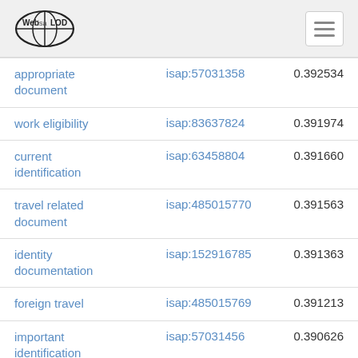Web isa LOD
| term | isap | score |
| --- | --- | --- |
| appropriate document | isap:57031358 | 0.392534 |
| work eligibility | isap:83637824 | 0.391974 |
| current identification | isap:63458804 | 0.391660 |
| travel related document | isap:485015770 | 0.391563 |
| identity documentation | isap:152916785 | 0.391363 |
| foreign travel | isap:485015769 | 0.391213 |
| important identification document | isap:57031456 | 0.390626 |